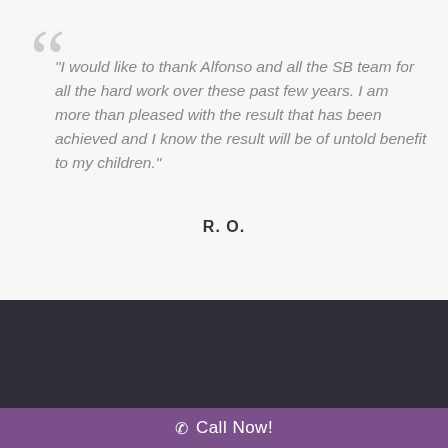"I would like to thank Alfonso and all the SB team for all the hard work over these past few years. I am more than pleased with the result that has been achieved and I know the result will be of untold benefit to my children."
R. O.
Family Lawyers Sydney
Level 2, 55 Brisbane Street, Surry Hills...
Call Now!